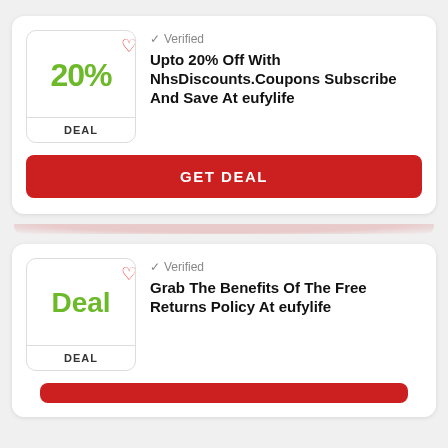[Figure (other): Deal card with 20% badge and heart icon]
Verified
Upto 20% Off With NhsDiscounts.Coupons Subscribe And Save At eufylife
GET DEAL
[Figure (other): Deal card with Deal badge and heart icon]
Verified
Grab The Benefits Of The Free Returns Policy At eufylife
GET DEAL